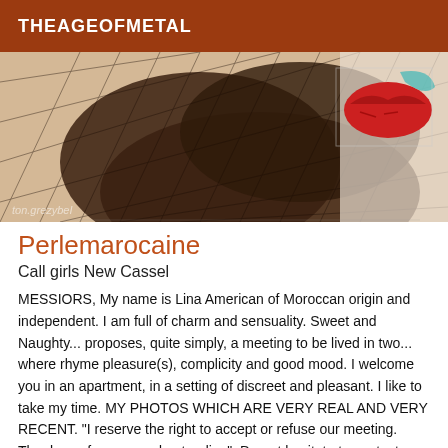THEAGEOFMETAL
[Figure (photo): Photo showing a person in fishnet stockings with a decorative lips graphic in the background. Watermark text 'ton.grezybeI' visible at bottom left.]
Perlemarocaine
Call girls New Cassel
MESSIORS, My name is Lina American of Moroccan origin and independent. I am full of charm and sensuality. Sweet and Naughty... proposes, quite simply, a meeting to be lived in two... where rhyme pleasure(s), complicity and good mood. I welcome you in an apartment, in a setting of discreet and pleasant. I like to take my time. MY PHOTOS WHICH ARE VERY REAL AND VERY RECENT. "I reserve the right to accept or refuse our meeting. Thank you for your understanding". Do not hesitate to contact me by phone or email for